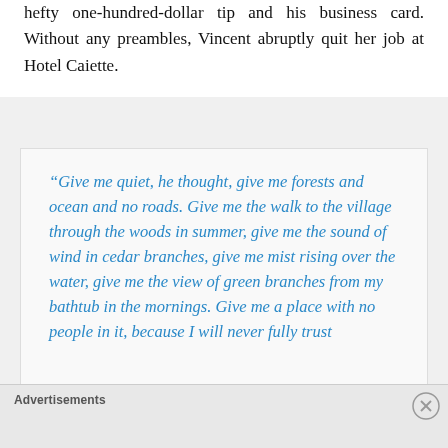hefty one-hundred-dollar tip and his business card. Without any preambles, Vincent abruptly quit her job at Hotel Caiette.
“Give me quiet, he thought, give me forests and ocean and no roads. Give me the walk to the village through the woods in summer, give me the sound of wind in cedar branches, give me mist rising over the water, give me the view of green branches from my bathtub in the mornings. Give me a place with no people in it, because I will never fully trust
Advertisements